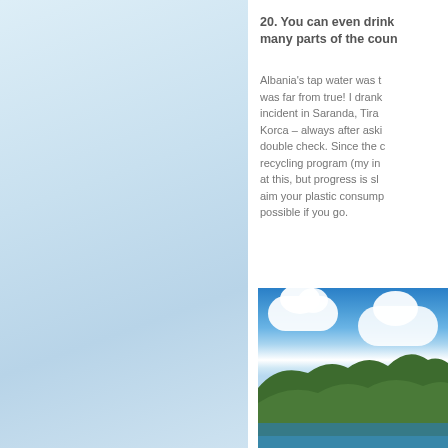[Figure (photo): Left panel: scenic photo or sky/water scene with soft blue gradient background]
20. You can even drink the tap water in many parts of the coun…
Albania's tap water was t… was far from true! I drank… incident in Saranda, Tira… Korca – always after aski… double check. Since the c… recycling program (my in… at this, but progress is sl… aim your plastic consump… possible if you go.
[Figure (photo): Outdoor photo showing a vivid blue sky with white clouds and green hills / mountains in the background, likely coastal Albania scenery]